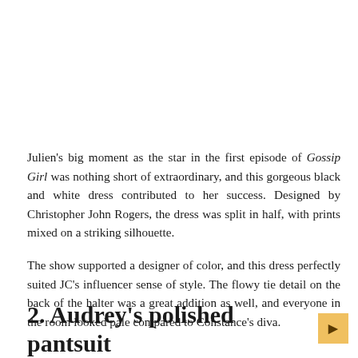Julien's big moment as the star in the first episode of Gossip Girl was nothing short of extraordinary, and this gorgeous black and white dress contributed to her success. Designed by Christopher John Rogers, the dress was split in half, with prints mixed on a striking silhouette.
The show supported a designer of color, and this dress perfectly suited JC's influencer sense of style. The flowy tie detail on the back of the halter was a great addition as well, and everyone in the room looked pale compared to Constance's diva.
2. Audrey's polished pantsuit